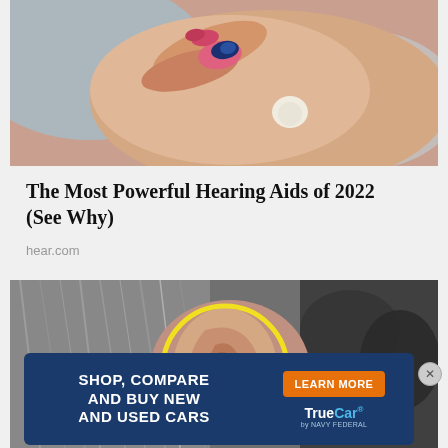[Figure (photo): Close-up photo of a person inserting a pink and white hearing aid into their ear, held by fingers with painted nails.]
The Most Powerful Hearing Aids of 2022 (See Why)
hear.com
[Figure (photo): Black and white photo of an elderly person's ear with gray hair, overlaid with a yellow circle highlighting the ear area.]
[Figure (other): Advertisement banner: dark blue background with white bold text 'SHOP, COMPARE AND BUY NEW AND USED CARS', an orange 'LEARN MORE' button, and the TrueCar by Navy Federal logo.]